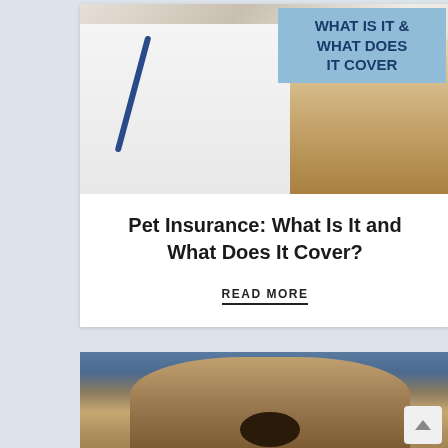[Figure (photo): Photo of a female veterinarian in white coat holding a golden Labrador puppy, with a blue stethoscope, and a blue overlay box with bold text reading 'WHAT IS IT & WHAT DOES IT COVER']
Pet Insurance: What Is It and What Does It Cover?
READ MORE
[Figure (photo): Close-up photo of an English Bulldog looking up at the camera, with a blurred interior background]